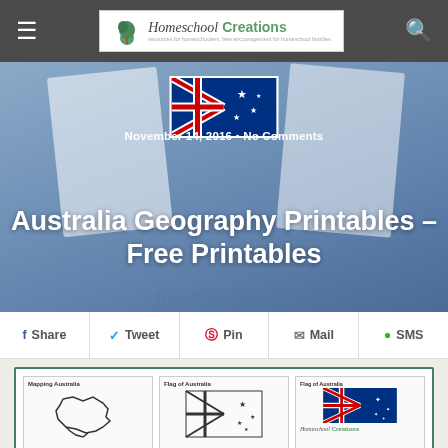Homeschool Creations
November 14, 2016 · No Comments
Australia Geography Printables – Free Printables
Share  Tweet  Pin  Mail  SMS
[Figure (screenshot): Preview of Australia geography printables including a mapping worksheet, Flag of Australia coloring pages, and Homeschool Creations logo]